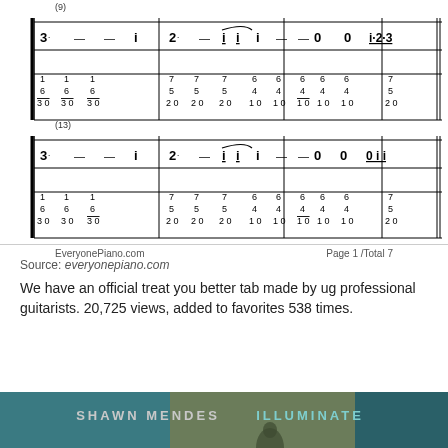[Figure (schematic): Music score section (9): Two-staff numbered notation with melody notes (dotted 3, --, i, dotted 2, --, ii with tie, i, --, --, 0 0 i.2.3) and bass chord numbers stacked (1/6/30, 1/6/30, 1/6/3.0, 7/5/2.0, 7/5/2.0, 7/5/2.0, 6/4/1.0, 6/4/1.0, 6/4/1.0, 6/4/1.0, 6/4/1.0, 7/5/2.0)]
[Figure (schematic): Music score section (13): Two-staff numbered notation with melody notes (dotted 3, --, i, dotted 2, --, ii with tie, i, --, --, 0 0 0 i i i) and bass chord numbers stacked (1/6/30, 1/6/30, 1/6/3.0, 7/5/2.0, 7/5/2.0, 7/5/2.0, 6/4/1.0, 6/4/1.0, 6/4/1.0, 6/4/1.0, 6/4/1.0, 7/5/2.0)]
EveryonePiano.com   Page 1 /Total 7
Source: everyonepiano.com
We have an official treat you better tab made by ug professional guitarists. 20,725 views, added to favorites 538 times.
[Figure (photo): Album cover for Shawn Mendes Illuminate, showing artist silhouette against dark teal/green background]